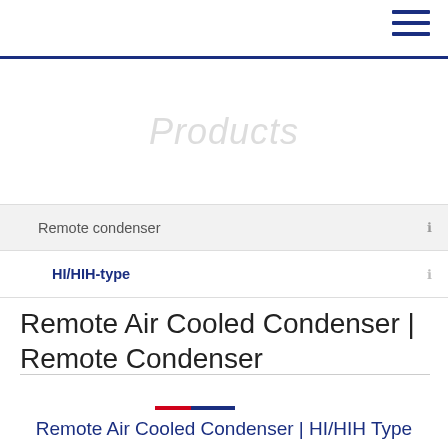≡
Products
Remote condenser
HI/HIH-type
Remote Air Cooled Condenser | Remote Condenser
Remote Air Cooled Condenser | HI/HIH Type